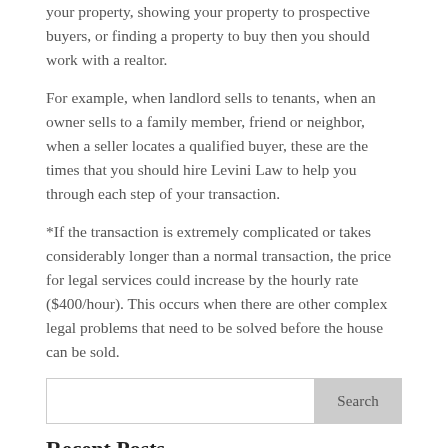your property, showing your property to prospective buyers, or finding a property to buy then you should work with a realtor.
For example, when landlord sells to tenants, when an owner sells to a family member, friend or neighbor, when a seller locates a qualified buyer, these are the times that you should hire Levini Law to help you through each step of your transaction.
*If the transaction is extremely complicated or takes considerably longer than a normal transaction, the price for legal services could increase by the hourly rate ($400/hour). This occurs when there are other complex legal problems that need to be solved before the house can be sold.
Recent Posts